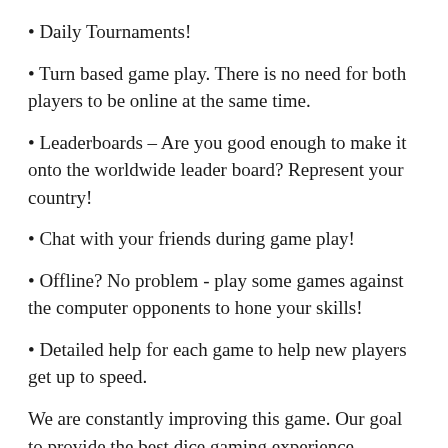Daily Tournaments!
Turn based game play. There is no need for both players to be online at the same time.
Leaderboards – Are you good enough to make it onto the worldwide leader board? Represent your country!
Chat with your friends during game play!
Offline? No problem - play some games against the computer opponents to hone your skills!
Detailed help for each game to help new players get up to speed.
We are constantly improving this game. Our goal to provide the best dice gaming experience available.